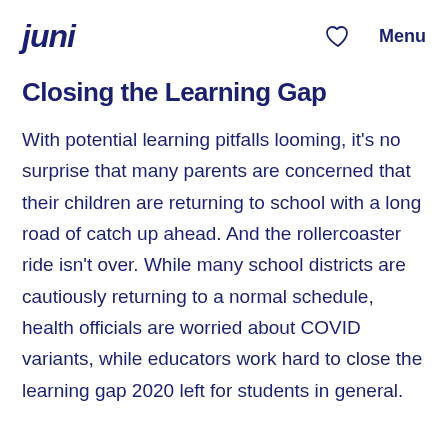juni | ♡ | Menu
Closing the Learning Gap
With potential learning pitfalls looming, it's no surprise that many parents are concerned that their children are returning to school with a long road of catch up ahead. And the rollercoaster ride isn't over. While many school districts are cautiously returning to a normal schedule, health officials are worried about COVID variants, while educators work hard to close the learning gap 2020 left for students in general.